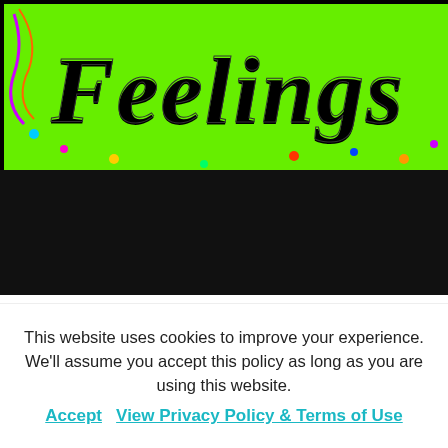[Figure (illustration): Educational product banner showing 'FEELINGS' in large decorative text on bright green background with colorful ornaments, below which is 'PROBLEM SOLVING SCENARIOS' in yellow-green text on black background, and worksheet cards with cartoon children at bottom on pink background]
This website uses cookies to improve your experience. We'll assume you accept this policy as long as you are using this website.
Accept   View Privacy Policy & Terms of Use